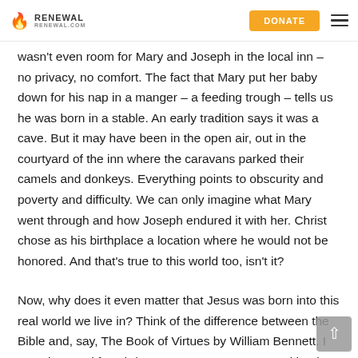RENEWAL | DONATE
wasn't even room for Mary and Joseph in the local inn – no privacy, no comfort. The fact that Mary put her baby down for his nap in a manger – a feeding trough – tells us he was born in a stable. An early tradition says it was a cave. But it may have been in the open air, out in the courtyard of the inn where the caravans parked their camels and donkeys. Everything points to obscurity and poverty and difficulty. We can only imagine what Mary went through and how Joseph endured it with her. Christ chose as his birthplace a location where he would not be honored. And that's true to this world too, isn't it?
Now, why does it even matter that Jesus was born into this real world we live in? Think of the difference between the Bible and, say, The Book of Virtues by William Bennett. I gave it to Jani for Christmas years ago. It's a good book to read to your kids. In The Book of Virtues, we're told stories – some true,